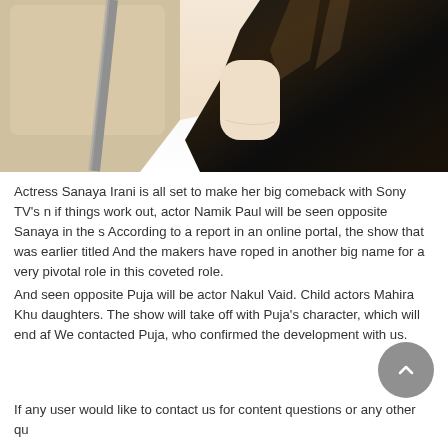[Figure (photo): Photo of a woman with long dark hair sitting in a car interior, wearing a white top. Car seat belt visible on the left side.]
Actress Sanaya Irani is all set to make her big comeback with Sony TV's n if things work out, actor Namik Paul will be seen opposite Sanaya in the s According to a report in an online portal, the show that was earlier titled And the makers have roped in another big name for a very pivotal role in this coveted role. And seen opposite Puja will be actor Nakul Vaid. Child actors Mahira Khu daughters. The show will take off with Puja's character, which will end af We contacted Puja, who confirmed the development with us.
If any user would like to contact us for content questions or any other qu